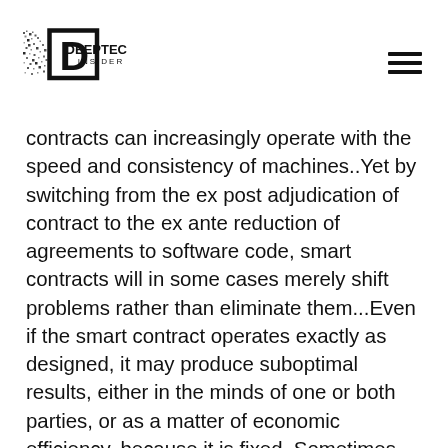DEEPTECH INSIDER
contracts can increasingly operate with the speed and consistency of machines..Yet by switching from the ex post adjudication of contract to the ex ante reduction of agreements to software code, smart contracts will in some cases merely shift problems rather than eliminate them...Even if the smart contract operates exactly as designed, it may produce suboptimal results, either in the minds of one or both parties, or as a matter of economic efficiency, because it is fixed. Sometimes, for example, nonperformance is the desirable outcome. Much has been made of the idea of efficient breach…"